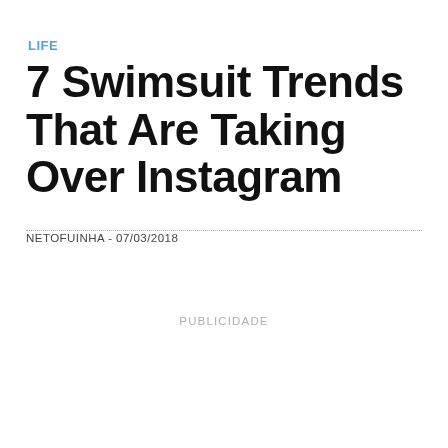LIFE
7 Swimsuit Trends That Are Taking Over Instagram
NETOFUINHA - 07/03/2018
PUBLICIDADE